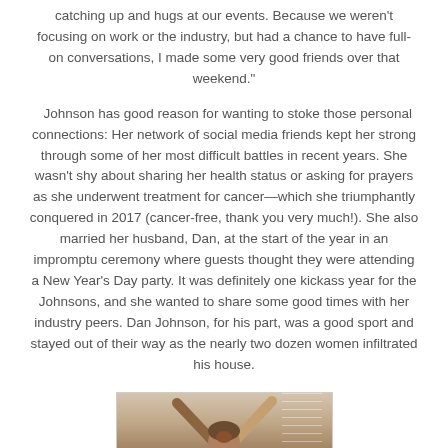catching up and hugs at our events. Because we weren't focusing on work or the industry, but had a chance to have full-on conversations, I made some very good friends over that weekend."
Johnson has good reason for wanting to stoke those personal connections: Her network of social media friends kept her strong through some of her most difficult battles in recent years. She wasn't shy about sharing her health status or asking for prayers as she underwent treatment for cancer—which she triumphantly conquered in 2017 (cancer-free, thank you very much!). She also married her husband, Dan, at the start of the year in an impromptu ceremony where guests thought they were attending a New Year's Day party. It was definitely one kickass year for the Johnsons, and she wanted to share some good times with her industry peers. Dan Johnson, for his part, was a good sport and stayed out of their way as the nearly two dozen women infiltrated his house.
[Figure (photo): A person photographed from behind, arms raised, with window blinds visible in the background.]